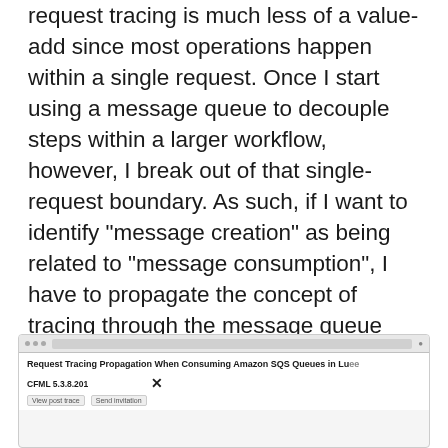request tracing is much less of a value-add since most operations happen within a single request. Once I start using a message queue to decouple steps within a larger workflow, however, I break out of that single-request boundary. As such, if I want to identify "message creation" as being related to "message consumption", I have to propagate the concept of tracing through the message queue life-cycle. I'm sure there are loads of ways to do this. So, what follows is just one possible way to propagate request tracing through Amazon SQS in a Lucee CFML 5.3.8.201 application.
[Figure (screenshot): Browser screenshot showing a web page titled 'Request Tracing Propagation When Consuming Amazon SQS Queues in Lucee CFML 5.3.8.201']